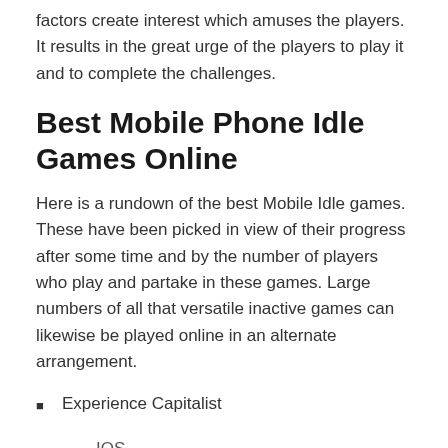factors create interest which amuses the players. It results in the great urge of the players to play it and to complete the challenges.
Best Mobile Phone Idle Games Online
Here is a rundown of the best Mobile Idle games. These have been picked in view of their progress after some time and by the number of players who play and partake in these games. Large numbers of all that versatile inactive games can likewise be played online in an alternate arrangement.
Experience Capitalist
IOS
Android